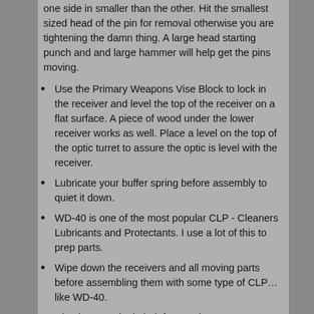one side in smaller than the other. Hit the smallest sized head of the pin for removal otherwise you are tightening the damn thing. A large head starting punch and and large hammer will help get the pins moving.
Use the Primary Weapons Vise Block to lock in the receiver and level the top of the receiver on a flat surface. A piece of wood under the lower receiver works as well. Place a level on the top of the optic turret to assure the optic is level with the receiver.
Lubricate your buffer spring before assembly to quiet it down.
WD-40 is one of the most popular CLP - Cleaners Lubricants and Protectants. I use a lot of this to prep parts.
Wipe down the receivers and all moving parts before assembling them with some type of CLP… like WD-40.
Check every single bolt face at the range to assure it is the correct for the caliber you have the barrel for. I have had two situations where I was shipped the